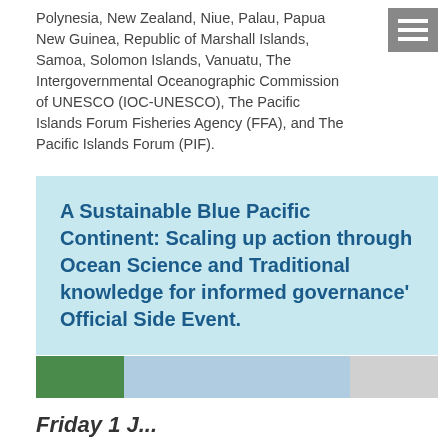Polynesia, New Zealand, Niue, Palau, Papua New Guinea, Republic of Marshall Islands, Samoa, Solomon Islands, Vanuatu, The Intergovernmental Oceanographic Commission of UNESCO (IOC-UNESCO), The Pacific Islands Forum Fisheries Agency (FFA), and The Pacific Islands Forum (PIF).
A Sustainable Blue Pacific Continent: Scaling up action through Ocean Science and Traditional knowledge for informed governance' Official Side Event.
[Figure (photo): A horizontal photo strip showing three images: green foliage on the left, a blue ocean/water scene in the middle, and a grey/light scene on the right.]
Friday 1 J...